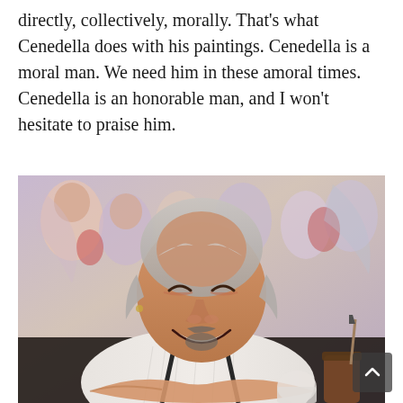...directly, collectively, morally. That's what Cenedella does with his paintings. Cenedella is a moral man. We need him in these amoral times. Cenedella is an honorable man, and I won't hesitate to praise him.
[Figure (photo): Photograph of an older man with gray hair, smiling broadly, wearing a white striped shirt with dark suspenders. He is leaning on a surface with his arms crossed, surrounded by colorful figurative paintings in the background. Paint brushes and jars are visible in the foreground.]